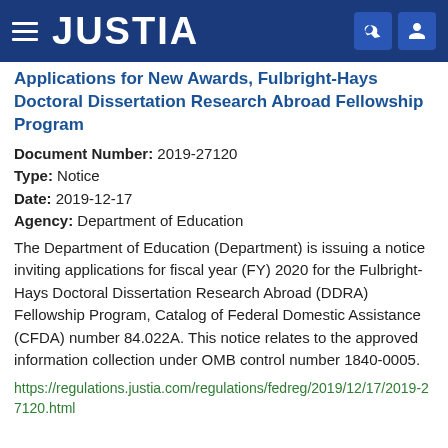JUSTIA
Applications for New Awards, Fulbright-Hays Doctoral Dissertation Research Abroad Fellowship Program
Document Number: 2019-27120
Type: Notice
Date: 2019-12-17
Agency: Department of Education
The Department of Education (Department) is issuing a notice inviting applications for fiscal year (FY) 2020 for the Fulbright-Hays Doctoral Dissertation Research Abroad (DDRA) Fellowship Program, Catalog of Federal Domestic Assistance (CFDA) number 84.022A. This notice relates to the approved information collection under OMB control number 1840-0005.
https://regulations.justia.com/regulations/fedreg/2019/12/17/2019-27120.html